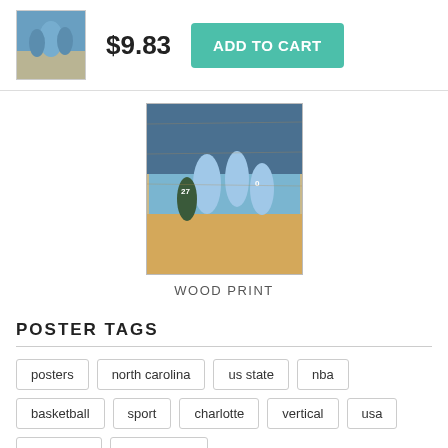[Figure (photo): Thumbnail of basketball game photo showing players in light blue uniforms]
$9.83
ADD TO CART
[Figure (photo): Wood print product image of basketball game with players in light blue uniforms]
WOOD PRINT
POSTER TAGS
posters
north carolina
us state
nba
basketball
sport
charlotte
vertical
usa
full length
sports team